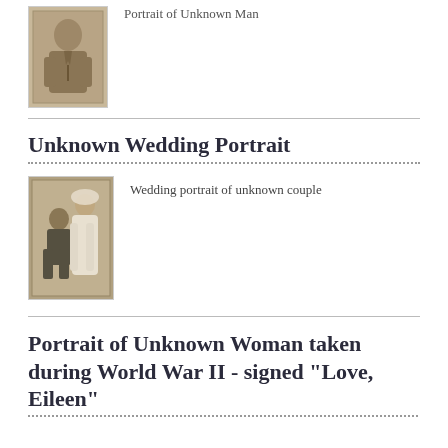[Figure (photo): Sepia portrait photograph of an unknown young man in formal attire, framed with border]
Portrait of Unknown Man
Unknown Wedding Portrait
[Figure (photo): Sepia wedding portrait photograph showing an unknown couple, woman in white dress standing, man seated]
Wedding portrait of unknown couple
Portrait of Unknown Woman taken during World War II - signed "Love, Eileen"